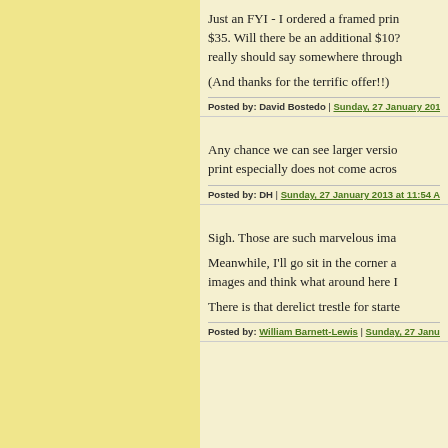Just an FYI - I ordered a framed print for $35. Will there be an additional $10? It really should say somewhere through the checkout process.
(And thanks for the terrific offer!!)
Posted by: David Bostedo | Sunday, 27 January 2013 a
Any chance we can see larger versions? The print especially does not come across well.
Posted by: DH | Sunday, 27 January 2013 at 11:54 AM
Sigh. Those are such marvelous images.
Meanwhile, I'll go sit in the corner and look at these images and think what around here I could photograph.
There is that derelict trestle for starters...
Posted by: William Barnett-Lewis | Sunday, 27 January...